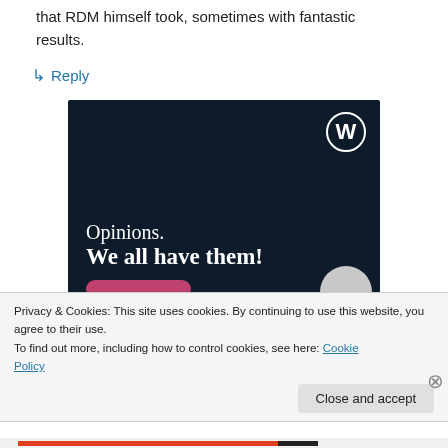that RDM himself took, sometimes with fantastic results.
↳ Reply
[Figure (illustration): WordPress.com advertisement on dark navy background. WordPress logo in top right corner. Text reads 'Opinions. We all have them!' with a pink button and partial circle at bottom right.]
Privacy & Cookies: This site uses cookies. By continuing to use this website, you agree to their use.
To find out more, including how to control cookies, see here: Cookie Policy
Close and accept